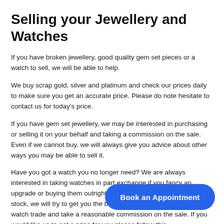Selling your Jewellery and Watches
If you have broken jewellery, good quality gem set pieces or a watch to sell, we will be able to help.
We buy scrap gold, silver and platinum and check our prices daily to make sure you get an accurate price. Please do note hesitate to contact us for today's price.
If you have gem set jewellery, we may be interested in purchasing or selling it on your behalf and taking a commission on the sale. Even if we cannot buy, we will always give you advice about other ways you may be able to sell it.
Have you got a watch you no longer need? We are always interested in taking watches in part exchange if you fancy an upgrade or buying them outright. If we dont need the watch for our stock, we will try to get you the best price from expert dealers in the watch trade and take a reasonable commission on the sale. If you would like us to get a price for you please follow this link ... will contact you with your provisional off... ur watch.